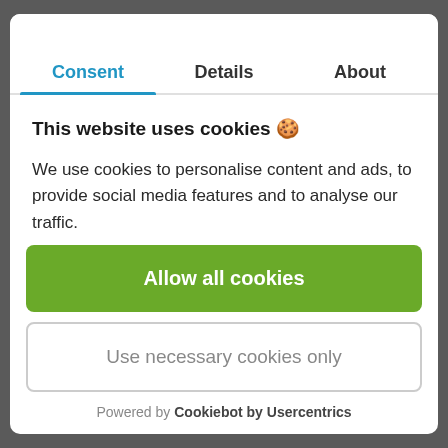Consent | Details | About
This website uses cookies 🍪
We use cookies to personalise content and ads, to provide social media features and to analyse our traffic. We also share information about your use of our site with our social media, advertising and analytics partners
Allow all cookies
Use necessary cookies only
Powered by Cookiebot by Usercentrics